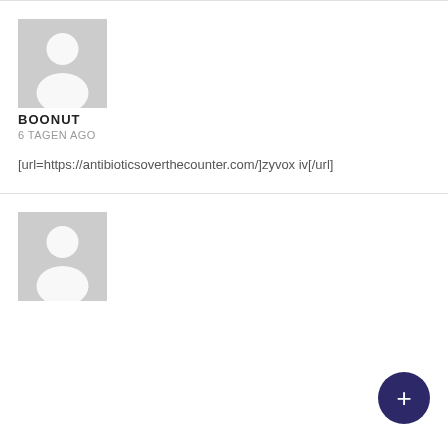[Figure (illustration): Gray placeholder avatar icon with person silhouette, first comment block]
BOONUT
6 TAGEN AGO
[url=https://antibioticsoverthecounter.com/]zyvox iv[/url]
[Figure (illustration): Gray placeholder avatar icon with person silhouette, second comment block]
[Figure (illustration): Dark navy circular FAB button with plus sign]